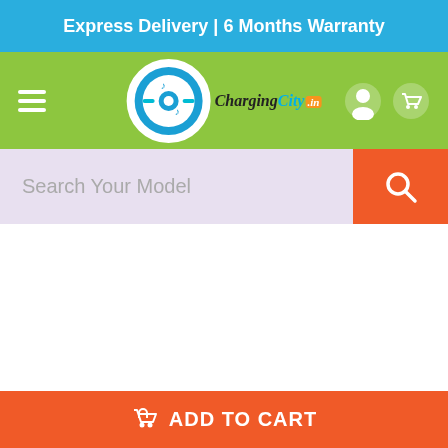Express Delivery | 6 Months Warranty
[Figure (logo): ChargingCity.in logo with circular design on green navigation bar with hamburger menu, user and cart icons]
[Figure (screenshot): Search bar with placeholder text 'Search Your Model' and orange search button]
Apple iPhone 5S Mobile Charger With
ADD TO CART